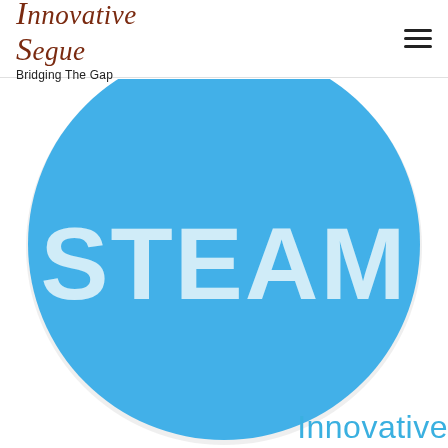Innovative Segue — Bridging The Gap
[Figure (logo): Blue circle logo with bold white text 'STEAM' in the center, with a light border/shadow on the circle edge. The circle is a large blue disc occupying most of the lower portion of the page.]
Innovative